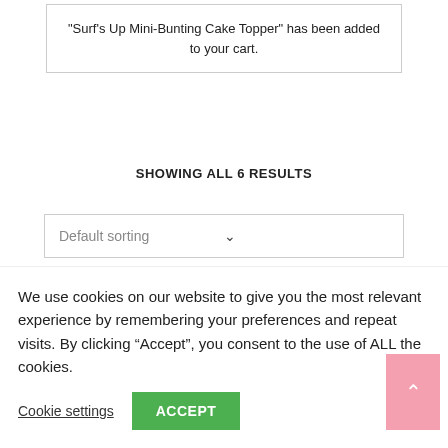"Surf's Up Mini-Bunting Cake Topper" has been added to your cart.
SHOWING ALL 6 RESULTS
Default sorting
[Figure (screenshot): Advertisement banner showing a decorative blue plate with NANG text and marble background, with 'paperan' branding.]
We use cookies on our website to give you the most relevant experience by remembering your preferences and repeat visits. By clicking “Accept”, you consent to the use of ALL the cookies.
Cookie settings
ACCEPT